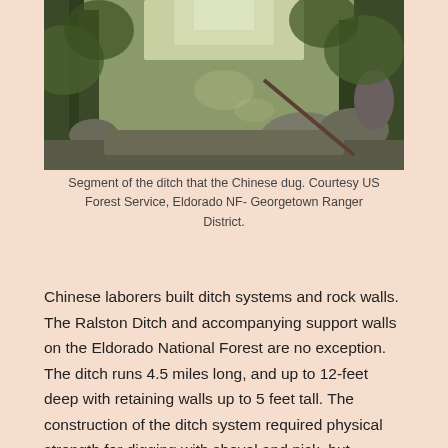[Figure (photo): Photograph of a rocky, wooded ditch segment in a forest, with large boulders and trees visible. The ditch was dug by Chinese laborers on the Eldorado National Forest.]
Segment of the ditch that the Chinese dug. Courtesy US Forest Service, Eldorado NF- Georgetown Ranger District.
Chinese laborers built ditch systems and rock walls. The Ralston Ditch and accompanying support walls on the Eldorado National Forest are no exception. The ditch runs 4.5 miles long, and up to 12-feet deep with retaining walls up to 5 feet tall. The construction of the ditch system required physical strength for digging with shovel and pick, but technical skills were also integral. Ditch diggers utilized hazardous explosives to blast into